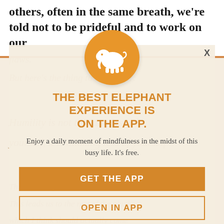others, often in the same breath, we're told not to be prideful and to work on our
[Figure (infographic): App promotion modal overlay on article page. Features an orange elephant logo circle, bold orange title text, subtitle text, and two buttons.]
THE BEST ELEPHANT EXPERIENCE IS ON THE APP.
Enjoy a daily moment of mindfulness in the midst of this busy life. It's free.
GET THE APP
OPEN IN APP